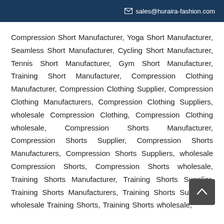sales@huraira-fashion.com
Compression Short Manufacturer, Yoga Short Manufacturer, Seamless Short Manufacturer, Cycling Short Manufacturer, Tennis Short Manufacturer, Gym Short Manufacturer, Training Short Manufacturer, Compression Clothing Manufacturer, Compression Clothing Supplier, Compression Clothing Manufacturers, Compression Clothing Suppliers, wholesale Compression Clothing, Compression Clothing wholesale, Compression Shorts Manufacturer, Compression Shorts Supplier, Compression Shorts Manufacturers, Compression Shorts Suppliers, wholesale Compression Shorts, Compression Shorts wholesale, Training Shorts Manufacturer, Training Shorts Supplier, Training Shorts Manufacturers, Training Shorts Suppliers, wholesale Training Shorts, Training Shorts wholesale,